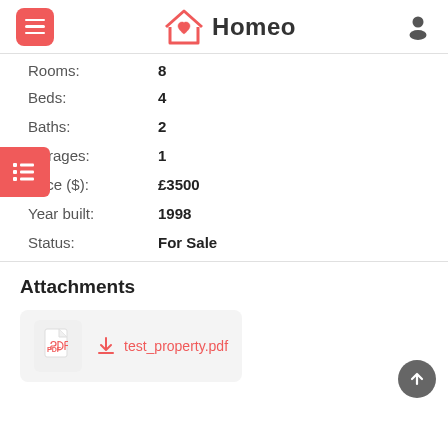Homeo
Rooms: 8
Beds: 4
Baths: 2
Garages: 1
Price ($): £3500
Year built: 1998
Status: For Sale
Attachments
test_property.pdf